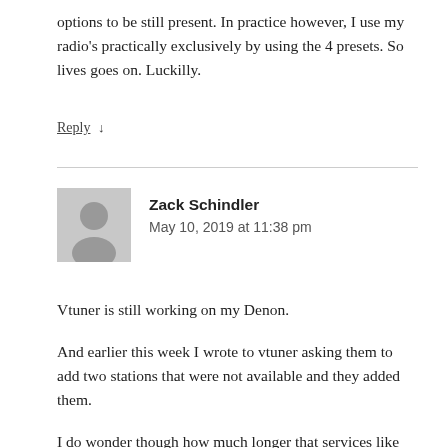options to be still present. In practice however, I use my radio's practically exclusively by using the 4 presets. So lives goes on. Luckilly.
Reply ↓
Zack Schindler
May 10, 2019 at 11:38 pm
Vtuner is still working on my Denon.
And earlier this week I wrote to vtuner asking them to add two stations that were not available and they added them.
I do wonder though how much longer that services like vtuner will be around though.